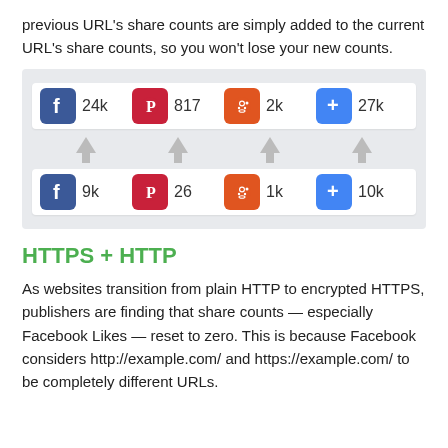previous URL's share counts are simply added to the current URL's share counts, so you won't lose your new counts.
[Figure (infographic): Social share count widget showing two rows: top row with Facebook 24k, Pinterest 817, Reddit 2k, Google+ 27k; middle row with upward arrows; bottom row with Facebook 9k, Pinterest 26, Reddit 1k, Google+ 10k]
HTTPS + HTTP
As websites transition from plain HTTP to encrypted HTTPS, publishers are finding that share counts — especially Facebook Likes — reset to zero. This is because Facebook considers http://example.com/ and https://example.com/ to be completely different URLs.